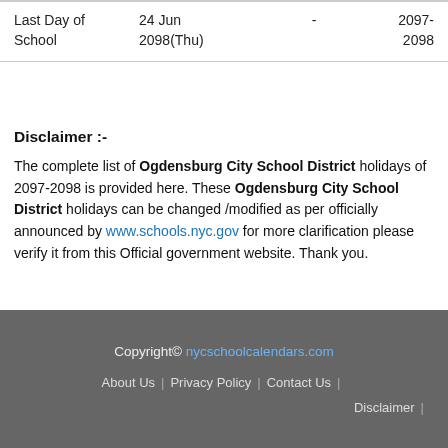|  |  |  |  |
| --- | --- | --- | --- |
| Last Day of School | 24 Jun 2098(Thu) | - | 2097-2098 |
Disclaimer :-
The complete list of Ogdensburg City School District holidays of 2097-2098 is provided here. These Ogdensburg City School District holidays can be changed /modified as per officially announced by www.schools.nyc.gov for more clarification please verify it from this Official government website. Thank you.
Copyright© nycschoolcalendars.com | About Us | Privacy Policy | Contact Us | Disclaimer |